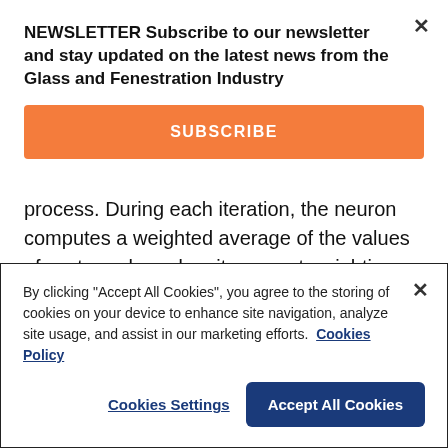NEWSLETTER Subscribe to our newsletter and stay updated on the latest news from the Glass and Fenestration Industry
SUBSCRIBE
process. During each iteration, the neuron computes a weighted average of the values of vector x, based on its current weighting vector w, and adds a bias b. For each neuron of the hidden layer, the weighted average is calculated as
By clicking "Accept All Cookies", you agree to the storing of cookies on your device to enhance site navigation, analyze site usage, and assist in our marketing efforts. Cookies Policy
Cookies Settings
Accept All Cookies